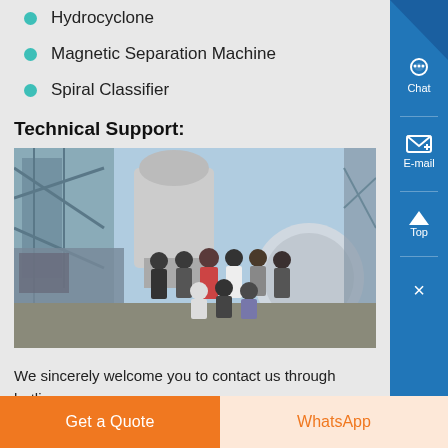Hydrocyclone
Magnetic Separation Machine
Spiral Classifier
Technical Support:
[Figure (photo): Group photo of workers and engineers standing in front of industrial mining equipment at an outdoor site.]
We sincerely welcome you to contact us through hotlines and other instant communication ways. We will serve you in the fastest way whether it is about project consulting or advice feedback.